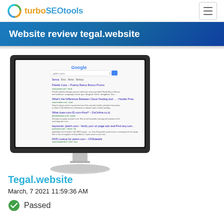turboSEOtools
Website review tegal.website
[Figure (screenshot): A computer monitor displaying a Google search results page for tegal.website, showing multiple search results about the site.]
Tegal.website
March, 7 2021 11:59:36 AM
Passed